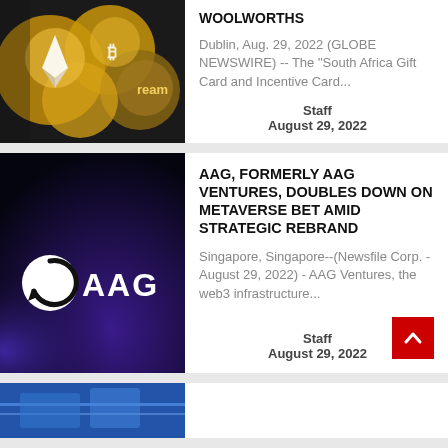[Figure (photo): Cryptocurrency coins including Ethereum and Bitcoin]
WOOLWORTHS
Dublin, Aug. 29, 2022 (GLOBE NEWSWIRE) -- The "South Africa Gift Card and Incentive Card...
Staff
August 29, 2022
[Figure (logo): AAG logo on dark purple/blue background — white circular arrow icon and white AAG text]
AAG, FORMERLY AAG VENTURES, DOUBLES DOWN ON METAVERSE BET AMID STRATEGIC REBRAND
Singapore, Singapore--(Newsfile Corp. - August 29, 2022) - AAG Ventures, the web3 infrastructure...
Staff
August 29, 2022
[Figure (photo): Partial image of a third news article at bottom]